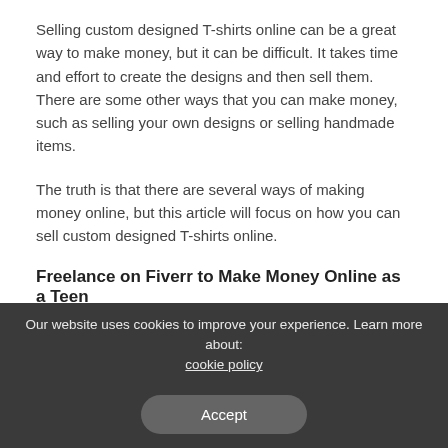Selling custom designed T-shirts online can be a great way to make money, but it can be difficult. It takes time and effort to create the designs and then sell them. There are some other ways that you can make money, such as selling your own designs or selling handmade items.
The truth is that there are several ways of making money online, but this article will focus on how you can sell custom designed T-shirts online.
Freelance on Fiverr to Make Money Online as a Teen
Fiverr is a freelance website where people can sell their services.
Our website uses cookies to improve your experience. Learn more about: cookie policy